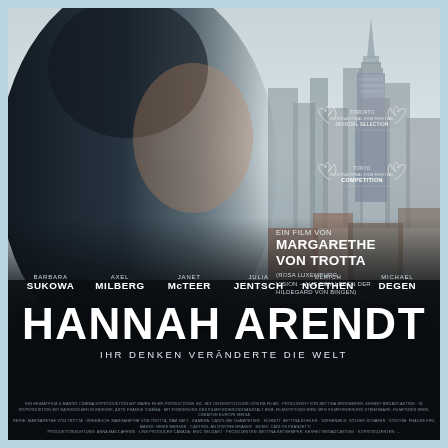[Figure (photo): Movie poster for Hannah Arendt. A middle-aged woman in profile view holding a cigarette, with a city skyline including the Chrysler Building visible through a window behind her. Dark cinematic tone with the woman dressed in grey.]
TORONTO INTERNATIONAL FILM FESTIVAL OFFICIAL SELECTION
TORONTO INTERNATIONAL FILM FESTIVAL COMPETITION
EIN FILM VON
MARGARETHE VON TROTTA
(ROSA LUXEMBURG, VISION – AUS DEM LEBEN DER HILDEGARD VON BINGEN)
BARBARA SUKOWA   AXEL MILBERG   JANET McTEER   JULIA JENTSCH   ULRICH NOETHEN   MICHAEL DEGEN
HANNAH ARENDT
IHR DENKEN VERÄNDERTE DIE WELT
Fine print production credits